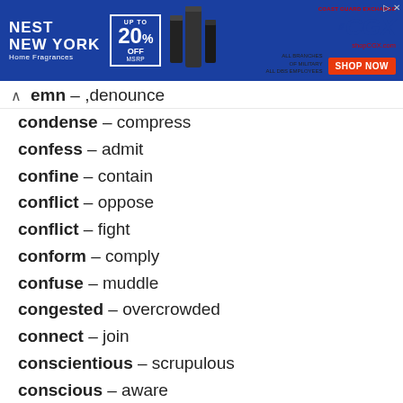[Figure (other): Advertisement banner: Nest New York Home Fragrances up to 20% off MSRP, and CGX shop now ad]
emn – ,denounce
condense – compress
confess – admit
confine – contain
conflict – oppose
conflict – fight
conform – comply
confuse – muddle
congested – overcrowded
connect – join
conscientious – scrupulous
conscious – aware
consecutive – successive
conservative – cautious